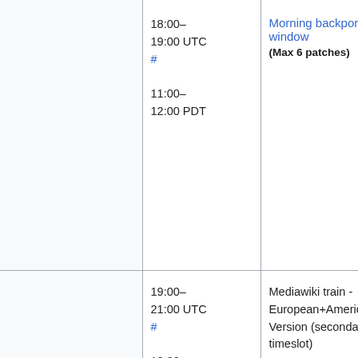| (col1) | Time | Event | (col4) |
| --- | --- | --- | --- |
|  | 18:00–19:00 UTC #
11:00–12:00 PDT | Morning backport window
(Max 6 patches) | P...
(...
M...
(...
(... |
|  | 19:00–21:00 UTC #
12:00–14:00 PDT | Mediawiki train - European+American Version (secondary timeslot) | L...
(... |